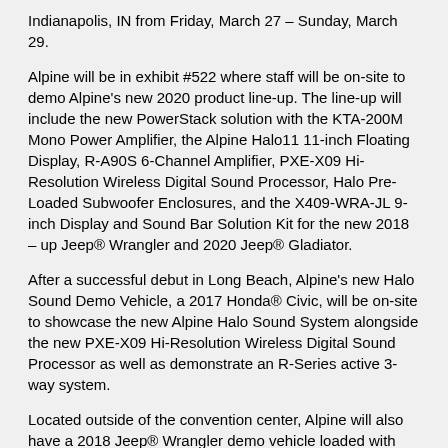Indianapolis, IN from Friday, March 27 – Sunday, March 29.
Alpine will be in exhibit #522 where staff will be on-site to demo Alpine's new 2020 product line-up. The line-up will include the new PowerStack solution with the KTA-200M Mono Power Amplifier, the Alpine Halo11 11-inch Floating Display, R-A90S 6-Channel Amplifier, PXE-X09 Hi-Resolution Wireless Digital Sound Processor, Halo Pre-Loaded Subwoofer Enclosures, and the X409-WRA-JL 9-inch Display and Sound Bar Solution Kit for the new 2018 – up Jeep® Wrangler and 2020 Jeep® Gladiator.
After a successful debut in Long Beach, Alpine's new Halo Sound Demo Vehicle, a 2017 Honda® Civic, will be on-site to showcase the new Alpine Halo Sound System alongside the new PXE-X09 Hi-Resolution Wireless Digital Sound Processor as well as demonstrate an R-Series active 3-way system.
Located outside of the convention center, Alpine will also have a 2018 Jeep® Wrangler demo vehicle loaded with the new X409-WRA-JL 9-inch Weather-Resistant Navigation System with Off-Road Mode and PSS-23WRA Powered System Upgrade. Alpine will host three training sessions during KnowledgeFest that will include a guided open forum for industry and 12Volt Specialist discussion.
Friday, March 27 from 3:00 p.m. – 4:00 p.m. in Room 122
Friday's training session will cover the 2020 Product Line-Up Review where the Alpine Brand Specialist team will provide